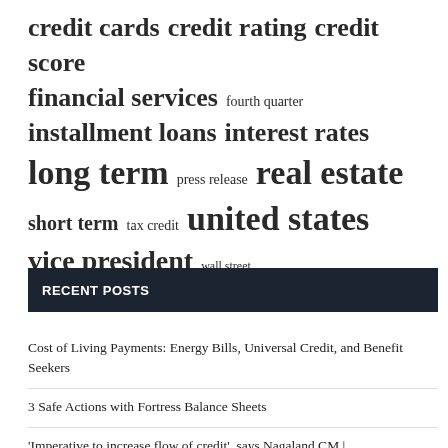[Figure (infographic): Tag cloud with financial/economic terms in varying font sizes indicating frequency. Largest terms: 'united states', 'long term', 'real estate'. Medium: 'credit cards', 'credit rating', 'credit score', 'financial services', 'installment loans', 'interest rates', 'short term', 'vice president'. Small: 'fourth quarter', 'press release', 'tax credit', 'wall street'.]
RECENT POSTS
Cost of Living Payments: Energy Bills, Universal Credit, and Benefit Seekers
3 Safe Actions with Fortress Balance Sheets
‘Imperative to increase flow of credit’, says Nagaland CM |